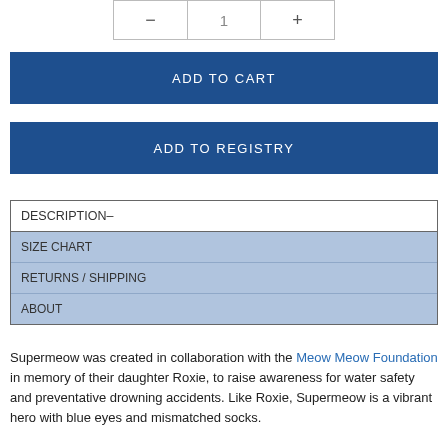[Figure (other): Quantity selector with minus button, 1 in center, plus button]
ADD TO CART
ADD TO REGISTRY
DESCRIPTION–
SIZE CHART
RETURNS / SHIPPING
ABOUT
Supermeow was created in collaboration with the Meow Meow Foundation in memory of their daughter Roxie, to raise awareness for water safety and preventative drowning accidents. Like Roxie, Supermeow is a vibrant hero with blue eyes and mismatched socks.